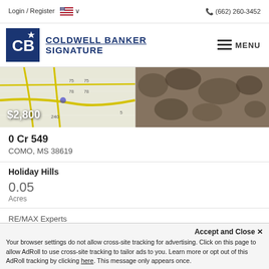Login / Register  🇺🇸 ∨   (662) 260-3452
[Figure (logo): Coldwell Banker Signature logo with navy blue background and CB monogram with star]
[Figure (photo): Property listing images: aerial map view on left, aerial/satellite photo on right. Price tag $2,800 overlaid.]
0 Cr 549
COMO, MS 38619
Holiday Hills
0.05
Acres
RE/MAX Experts
Accept and Close ×
Your browser settings do not allow cross-site tracking for advertising. Click on this page to allow AdRoll to use cross-site tracking to tailor ads to you. Learn more or opt out of this AdRoll tracking by clicking here. This message only appears once.